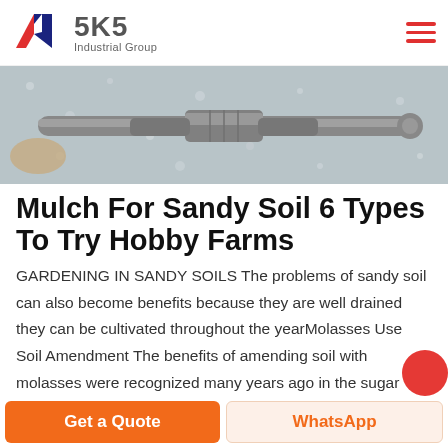SKS Industrial Group
[Figure (photo): Close-up photo of granular material (perlite/gravel) with a grey plastic pipe/tool fitting in the center]
Mulch For Sandy Soil 6 Types To Try Hobby Farms
GARDENING IN SANDY SOILS The problems of sandy soil can also become benefits because they are well drained they can be cultivated throughout the yearMolasses Use Soil Amendment The benefits of amending soil with molasses were recognized many years ago in the sugar cane industry It was added to soil Sandy soil can lead
Get a Quote | WhatsApp